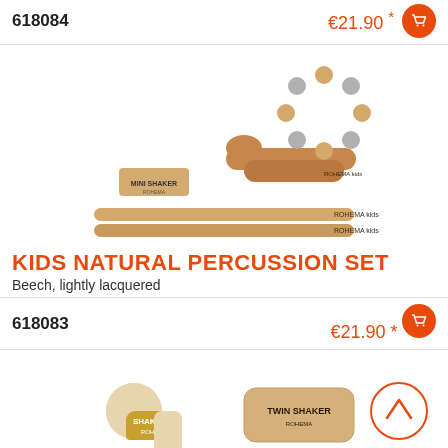618084   €21.90 *
[Figure (photo): Kids Natural Percussion Set product photo showing a wooden rattle/maraca, a jingle ring with wooden and metal balls, a mini shaker block, and two wooden drumsticks/claves, all in natural beech wood finish.]
KIDS NATURAL PERCUSSION SET
Beech, lightly lacquered
618083   €21.90 *
[Figure (photo): Bottom section showing two percussion instruments: a rounded wooden shaker labeled 'SHAKE ME' with gold band, and a cylindrical twin shaker labeled 'TWIN SHAKER', plus a scroll-up arrow button circle on the right.]